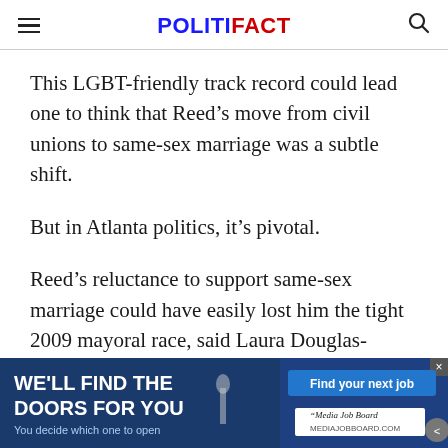POLITIFACT
This LGBT-friendly track record could lead one to think that Reed’s move from civil unions to same-sex marriage was a subtle shift.
But in Atlanta politics, it’s pivotal.
Reed’s reluctance to support same-sex marriage could have easily lost him the tight 2009 mayoral race, said Laura Douglas-Brown, editor and co-founder of The Georgia Voi... LGBT
[Figure (other): Advertisement banner: 'WE'LL FIND THE DOORS FOR YOU / You decide which one to open' with a 'Find your next job' button and Media Job Board logo]